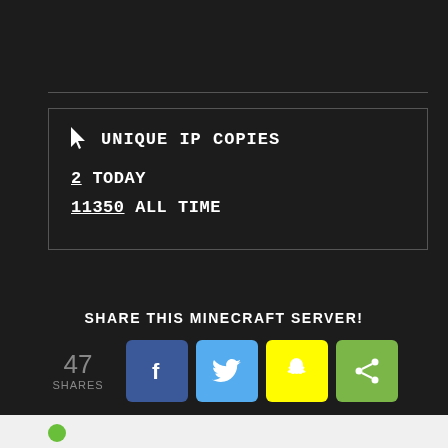UNIQUE IP COPIES
2 TODAY
11350 ALL TIME
SHARE THIS MINECRAFT SERVER!
47 SHARES
[Figure (infographic): Social share buttons: Facebook (blue), Twitter (light blue), Snapchat (yellow), Share (green), with 47 shares count]